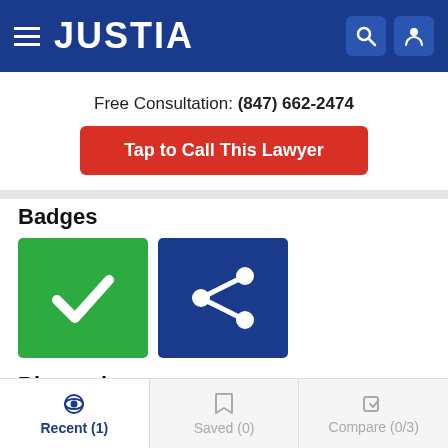JUSTIA
Free Consultation: (847) 662-2474
Tap to Call This Lawyer
Badges
[Figure (illustration): Two badge icons: a green square with a white checkmark, and a dark blue square with a white share/network icon]
Biography
Recent (1)  Saved (0)  Compare (0/3)